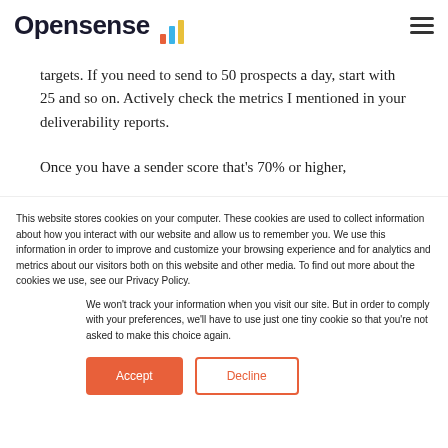Opensense
targets. If you need to send to 50 prospects a day, start with 25 and so on. Actively check the metrics I mentioned in your deliverability reports.
Once you have a sender score that's 70% or higher,
This website stores cookies on your computer. These cookies are used to collect information about how you interact with our website and allow us to remember you. We use this information in order to improve and customize your browsing experience and for analytics and metrics about our visitors both on this website and other media. To find out more about the cookies we use, see our Privacy Policy.
We won't track your information when you visit our site. But in order to comply with your preferences, we'll have to use just one tiny cookie so that you're not asked to make this choice again.